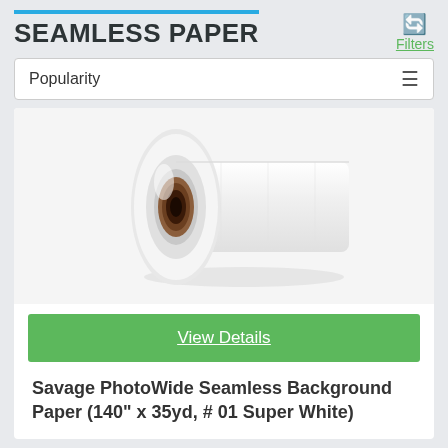SEAMLESS PAPER
Filters
Popularity
[Figure (photo): A roll of white seamless background paper with a brown cardboard core, shown at an angle on a white surface.]
View Details
Savage PhotoWide Seamless Background Paper (140" x 35yd, # 01 Super White)